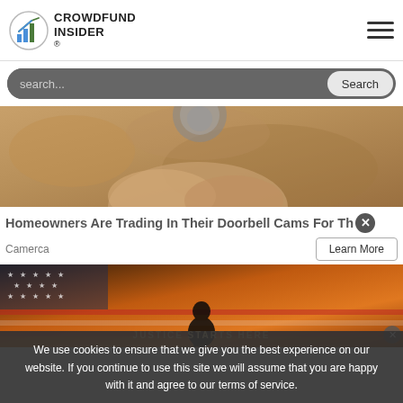CROWDFUND INSIDER
search...
[Figure (photo): Close-up photo of hands holding a round object, bread or clay texture]
Homeowners Are Trading In Their Doorbell Cams For Th[X]
Camerca
Learn More
[Figure (photo): Silhouette of a soldier against an orange sunset sky with American flag background, text reads JUSTICE STARTS HERE]
We use cookies to ensure that we give you the best experience on our website. If you continue to use this site we will assume that you are happy with it and agree to our terms of service.